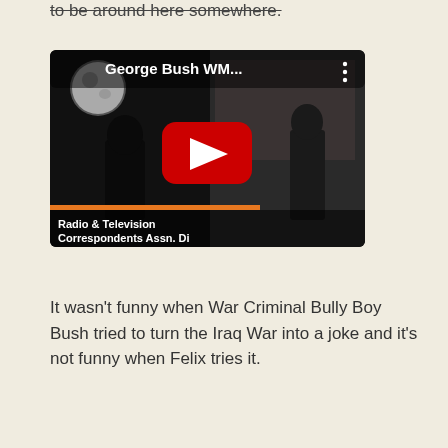to be around here somewhere.
[Figure (screenshot): YouTube video thumbnail showing 'George Bush WM...' with a red play button. The video thumbnail shows a dark scene and at the bottom reads 'Radio & Television Correspondents Assn. Di']
It wasn't funny when War Criminal Bully Boy Bush tried to turn the Iraq War into a joke and it's not funny when Felix tries it.